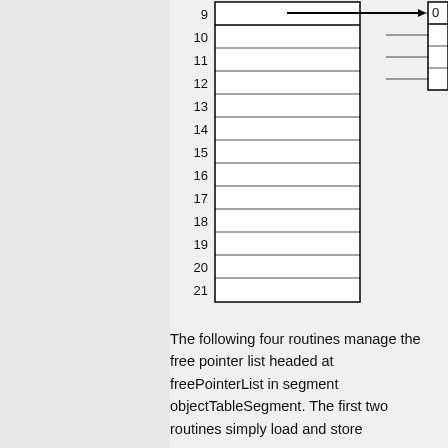[Figure (schematic): Partial diagram showing two vertical boxes (arrays/tables) connected by a horizontal arrow. Left box shows row indices 9 through 21, with an arrow pointing right from row 9 to row 0 of a second box on the right. The right box shows rows 0 through approximately 3 with horizontal lines.]
The following four routines manage the free pointer list headed at freePointerList in segment objectTableSegment. The first two routines simply load and store